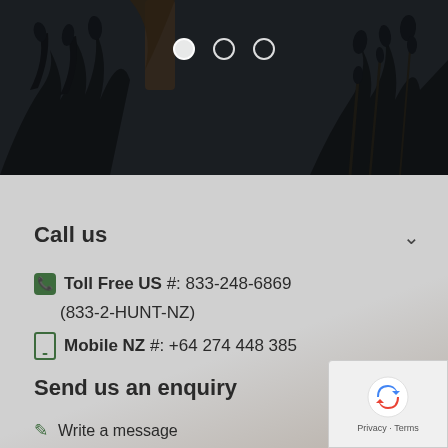[Figure (photo): Dark silhouette of plant branches/leaves against a dark moody background with slider navigation dots]
Call us
📞 Toll Free US #: 833-248-6869
(833-2-HUNT-NZ)
📱 Mobile NZ #: +64 274 448 385
Send us an enquiry
✏ Write a message
✉ info@leithenvalley.com